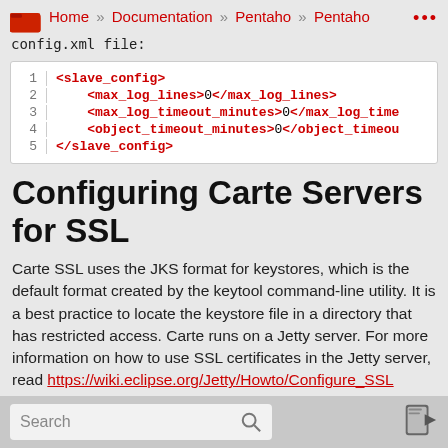Home » Documentation » Pentaho » Pentaho config.xml file:
[Figure (screenshot): Code block showing XML snippet with slave_config element containing max_log_lines, max_log_timeout_minutes, object_timeout_minutes fields all set to 0, lines numbered 1-5]
Configuring Carte Servers for SSL
Carte SSL uses the JKS format for keystores, which is the default format created by the keytool command-line utility. It is a best practice to locate the keystore file in a directory that has restricted access. Carte runs on a Jetty server. For more information on how to use SSL certificates in the Jetty server, read https://wiki.eclipse.org/Jetty/Howto/Configure_SSL
Search